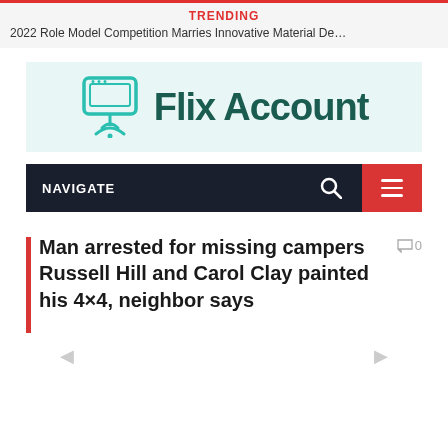TRENDING
2022 Role Model Competition Marries Innovative Material De…
[Figure (logo): Flix Account logo with teal monitor and wifi icon and dark green bold text 'Flix Account']
NAVIGATE
Man arrested for missing campers Russell Hill and Carol Clay painted his 4×4, neighbor says
0